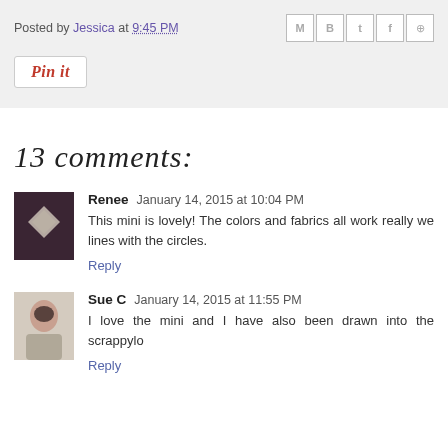Posted by Jessica at 9:45 PM
[Figure (screenshot): Pin it button]
13 comments:
[Figure (photo): Avatar image for Renee, dark purple/gray quilt pattern]
Renee  January 14, 2015 at 10:04 PM
This mini is lovely! The colors and fabrics all work really we... lines with the circles.
Reply
[Figure (photo): Avatar image for Sue C, woman with short dark hair]
Sue C  January 14, 2015 at 11:55 PM
I love the mini and I have also been drawn into the scrappylo...
Reply